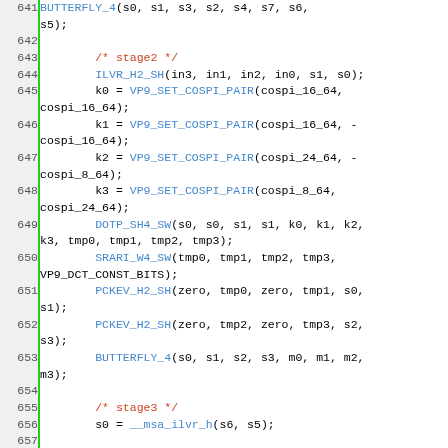[Figure (screenshot): Source code listing showing lines 641-662 of a C/assembly macro-based DCT implementation with syntax highlighting. Line numbers in grey background on left, green vertical bar separator, code in right column with function names in blue, comments in red, variables in black.]